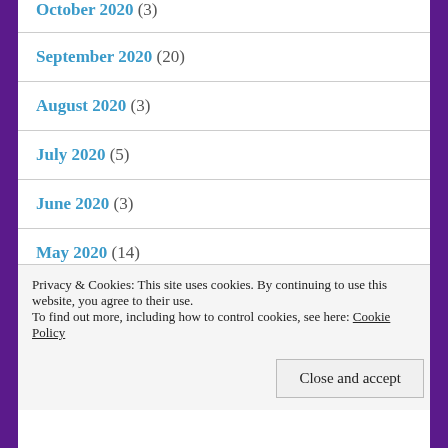October 2020 (3)
September 2020 (20)
August 2020 (3)
July 2020 (5)
June 2020 (3)
May 2020 (14)
April 2020 (8)
March 2020 (9)
Privacy & Cookies: This site uses cookies. By continuing to use this website, you agree to their use. To find out more, including how to control cookies, see here: Cookie Policy
Close and accept